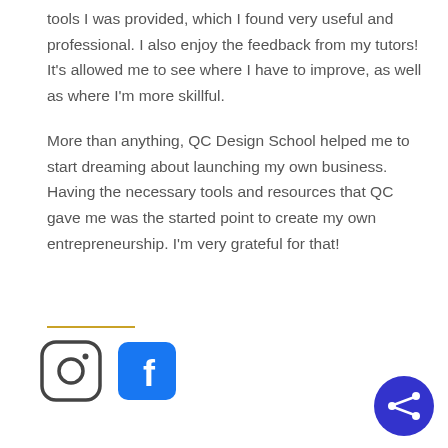tools I was provided, which I found very useful and professional. I also enjoy the feedback from my tutors! It's allowed me to see where I have to improve, as well as where I'm more skillful.

More than anything, QC Design School helped me to start dreaming about launching my own business. Having the necessary tools and resources that QC gave me was the started point to create my own entrepreneurship. I'm very grateful for that!
[Figure (illustration): Instagram icon (rounded square with camera outline) and Facebook icon (blue rounded square with white f), plus a blue circular share button with share/network icon in bottom right]